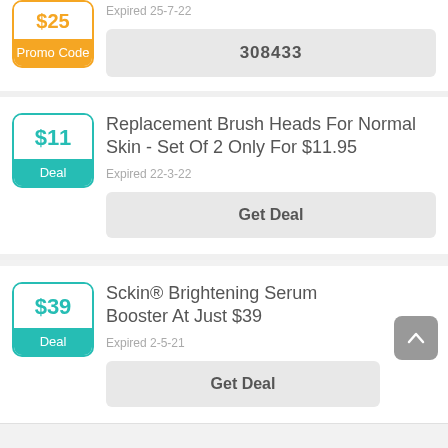$25 | Promo Code | Expired 25-7-22 | 308433
Replacement Brush Heads For Normal Skin - Set Of 2 Only For $11.95
Expired 22-3-22
Get Deal
Sckin® Brightening Serum Booster At Just $39
Expired 2-5-21
Get Deal